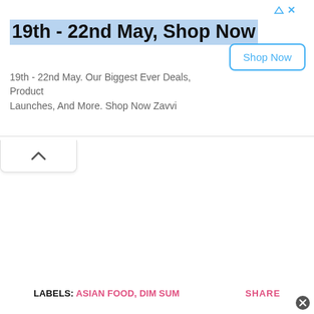[Figure (screenshot): Advertisement banner for Zavvi shop promotion '19th - 22nd May, Shop Now' with a blue-highlighted title, body text about deals and product launches, and a 'Shop Now' button with blue border.]
[Figure (other): Collapse/accordion chevron-up tab button below the ad banner.]
LABELS: ASIAN FOOD, DIM SUM
SHARE